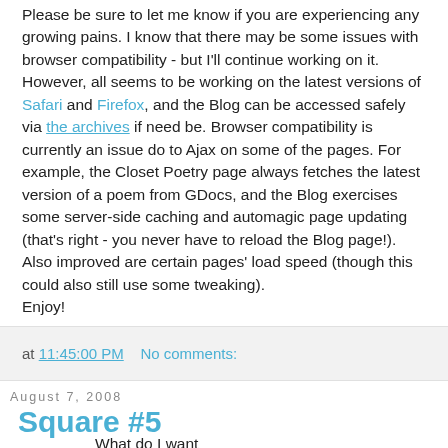Please be sure to let me know if you are experiencing any growing pains. I know that there may be some issues with browser compatibility - but I'll continue working on it. However, all seems to be working on the latest versions of Safari and Firefox, and the Blog can be accessed safely via the archives if need be. Browser compatibility is currently an issue do to Ajax on some of the pages. For example, the Closet Poetry page always fetches the latest version of a poem from GDocs, and the Blog exercises some server-side caching and automagic page updating (that's right - you never have to reload the Blog page!). Also improved are certain pages' load speed (though this could also still use some tweaking).
Enjoy!
at 11:45:00 PM    No comments:
August 7, 2008
Square #5
What do I want